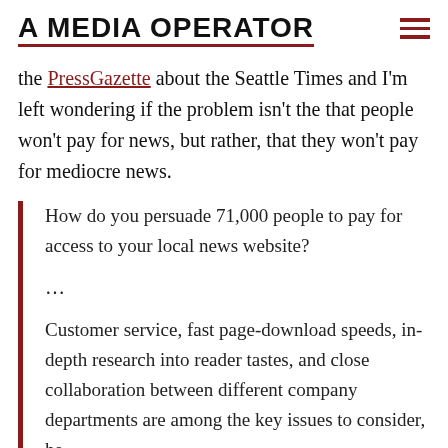A MEDIA OPERATOR
the PressGazette about the Seattle Times and I'm left wondering if the problem isn't the that people won't pay for news, but rather, that they won't pay for mediocre news.
How do you persuade 71,000 people to pay for access to your local news website?

...

Customer service, fast page-download speeds, in-depth research into reader tastes, and close collaboration between different company departments are among the key issues to consider, he